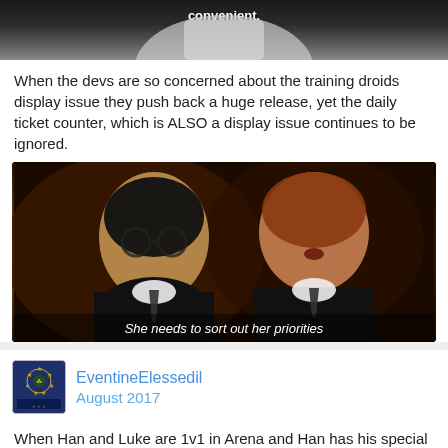[Figure (photo): Partial image at top, dark background with white text reading 'convenient.']
When the devs are so concerned about the training droids display issue they push back a huge release, yet the daily ticket counter, which is ALSO a display issue continues to be ignored.
[Figure (photo): Movie still from Harry Potter showing Harry and Ron looking surprised, with subtitle 'She needs to sort out her priorities']
EventineElessedil
August 2017
When Han and Luke are 1v1 in Arena and Han has his special ready to roll
[Figure (photo): Partial image at the bottom, cut off]